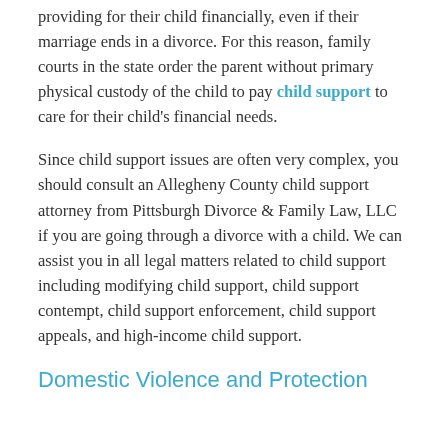providing for their child financially, even if their marriage ends in a divorce. For this reason, family courts in the state order the parent without primary physical custody of the child to pay child support to care for their child's financial needs.
Since child support issues are often very complex, you should consult an Allegheny County child support attorney from Pittsburgh Divorce & Family Law, LLC if you are going through a divorce with a child. We can assist you in all legal matters related to child support including modifying child support, child support contempt, child support enforcement, child support appeals, and high-income child support.
Domestic Violence and Protection